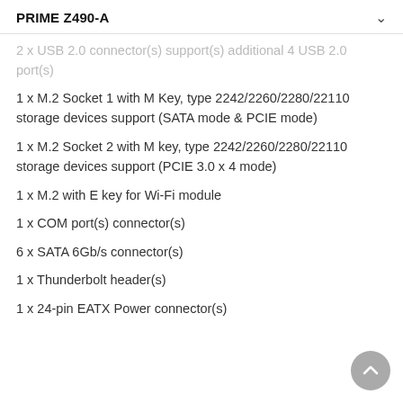PRIME Z490-A
2 x USB 2.0 connector(s) support(s) additional 4 USB 2.0 port(s)
1 x M.2 Socket 1 with M Key, type 2242/2260/2280/22110 storage devices support (SATA mode & PCIE mode)
1 x M.2 Socket 2 with M key, type 2242/2260/2280/22110 storage devices support (PCIE 3.0 x 4 mode)
1 x M.2 with E key for Wi-Fi module
1 x COM port(s) connector(s)
6 x SATA 6Gb/s connector(s)
1 x Thunderbolt header(s)
1 x 24-pin EATX Power connector(s)